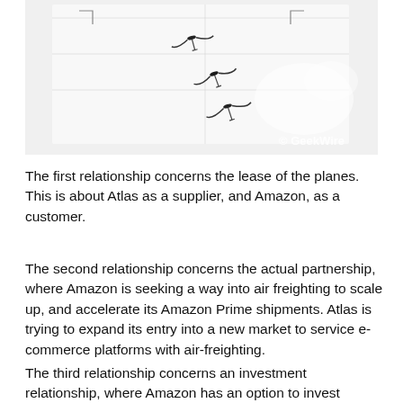[Figure (photo): Aerial photo of aircraft fuselage top surface showing drones or bird-like objects on white painted surface, with GeekWire watermark in lower right corner.]
The first relationship concerns the lease of the planes. This is about Atlas as a supplier, and Amazon, as a customer.
The second relationship concerns the actual partnership, where Amazon is seeking a way into air freighting to scale up, and accelerate its Amazon Prime shipments. Atlas is trying to expand its entry into a new market to service e-commerce platforms with air-freighting.
The third relationship concerns an investment relationship, where Amazon has an option to invest